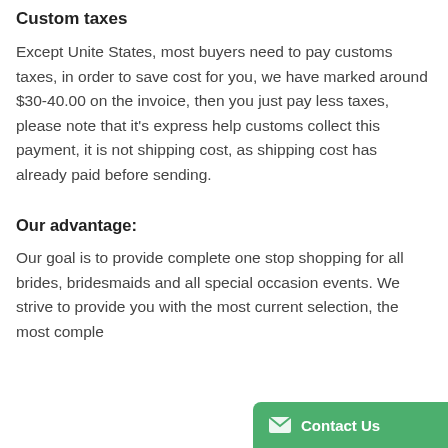Custom taxes
Except Unite States, most buyers need to pay customs taxes, in order to save cost for you, we have marked around $30-40.00 on the invoice, then you just pay less taxes, please note that it's express help customs collect this payment, it is not shipping cost, as shipping cost has already paid before sending.
Our advantage:
Our goal is to provide complete one stop shopping for all brides, bridesmaids and all special occasion events. We strive to provide you with the most current selection, the most comple...